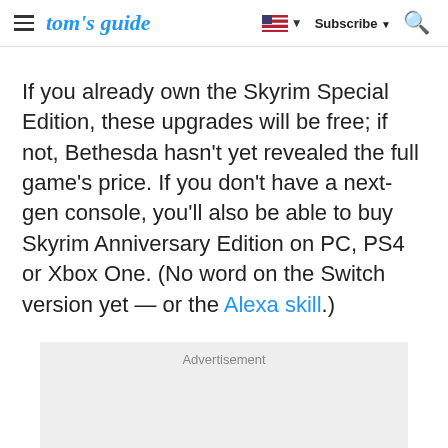tom's guide | Subscribe | Search
If you already own the Skyrim Special Edition, these upgrades will be free; if not, Bethesda hasn't yet revealed the full game's price. If you don't have a next-gen console, you'll also be able to buy Skyrim Anniversary Edition on PC, PS4 or Xbox One. (No word on the Switch version yet — or the Alexa skill.)
Advertisement